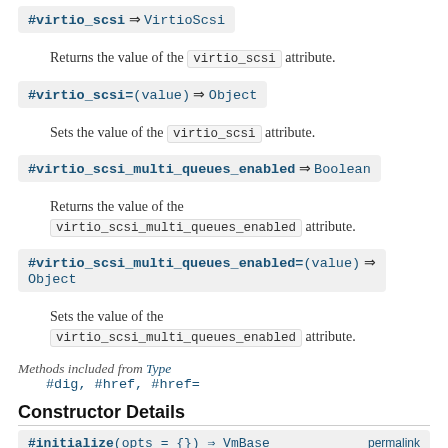#virtio_scsi ⇒ VirtioScsi
Returns the value of the virtio_scsi attribute.
#virtio_scsi=(value) ⇒ Object
Sets the value of the virtio_scsi attribute.
#virtio_scsi_multi_queues_enabled ⇒ Boolean
Returns the value of the virtio_scsi_multi_queues_enabled attribute.
#virtio_scsi_multi_queues_enabled=(value) ⇒ Object
Sets the value of the virtio_scsi_multi_queues_enabled attribute.
Methods included from Type
#dig, #href, #href=
Constructor Details
#initialize(opts = {}) ⇒ VmBase   permalink